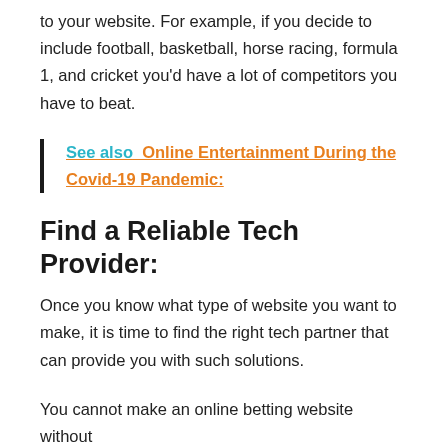to your website. For example, if you decide to include football, basketball, horse racing, formula 1, and cricket you'd have a lot of competitors you have to beat.
See also  Online Entertainment During the Covid-19 Pandemic:
Find a Reliable Tech Provider:
Once you know what type of website you want to make, it is time to find the right tech partner that can provide you with such solutions.
You cannot make an online betting website without